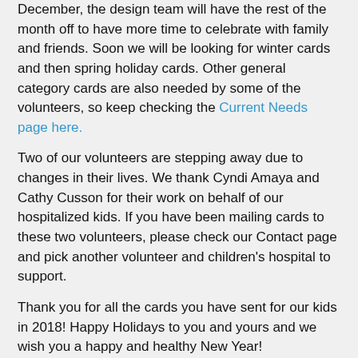December, the design team will have the rest of the month off to have more time to celebrate with family and friends. Soon we will be looking for winter cards and then spring holiday cards. Other general category cards are also needed by some of the volunteers, so keep checking the Current Needs page here.
Two of our volunteers are stepping away due to changes in their lives. We thank Cyndi Amaya and Cathy Cusson for their work on behalf of our hospitalized kids. If you have been mailing cards to these two volunteers, please check our Contact page and pick another volunteer and children's hospital to support.
Thank you for all the cards you have sent for our kids in 2018! Happy Holidays to you and yours and we wish you a happy and healthy New Year!
Stamping Smiles 4 Our Kids, Karen